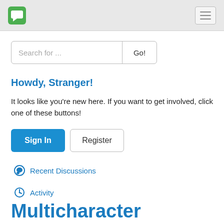Search for ...
Howdy, Stranger!
It looks like you're new here. If you want to get involved, click one of these buttons!
Sign In
Register
Recent Discussions
Activity
Multicharacter keyboard